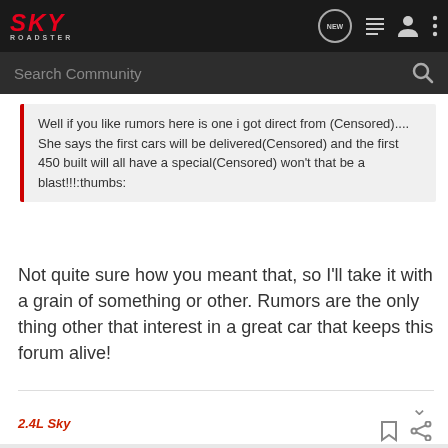[Figure (logo): SKY ROADSTER logo in red italic text on dark background]
Search Community
Well if you like rumors here is one i got direct from (Censored).... She says the first cars will be delivered(Censored) and the first 450 built will all have a special(Censored) won't that be a blast!!!:thumbs:
Not quite sure how you meant that, so I'll take it with a grain of something or other. Rumors are the only thing other that interest in a great car that keeps this forum alive!
2.4L Sky